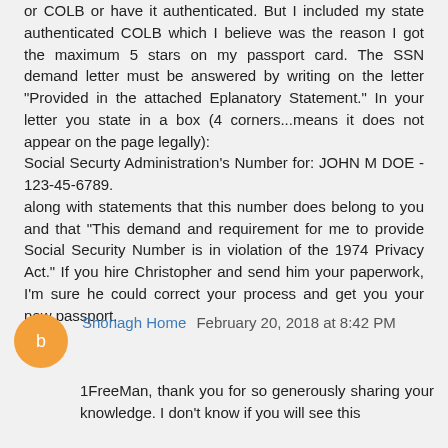or COLB or have it authenticated. But I included my state authenticated COLB which I believe was the reason I got the maximum 5 stars on my passport card. The SSN demand letter must be answered by writing on the letter "Provided in the attached Eplanatory Statement." In your letter you state in a box (4 corners...means it does not appear on the page legally): Social Securty Administration's Number for: JOHN M DOE - 123-45-6789. along with statements that this number does belong to you and that "This demand and requirement for me to provide Social Security Number is in violation of the 1974 Privacy Act." If you hire Christopher and send him your paperwork, I'm sure he could correct your process and get you your new passport.
Shonagh Home  February 20, 2018 at 8:42 PM
1FreeMan, thank you for so generously sharing your knowledge. I don't know if you will see this